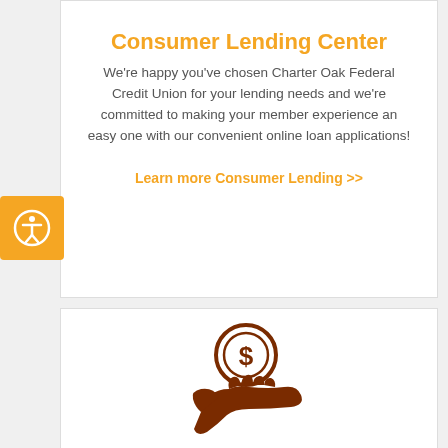Consumer Lending Center
We're happy you've chosen Charter Oak Federal Credit Union for your lending needs and we're committed to making your member experience an easy one with our convenient online loan applications!
Learn more Consumer Lending >>
[Figure (illustration): Hand holding a dollar coin icon in dark brown color]